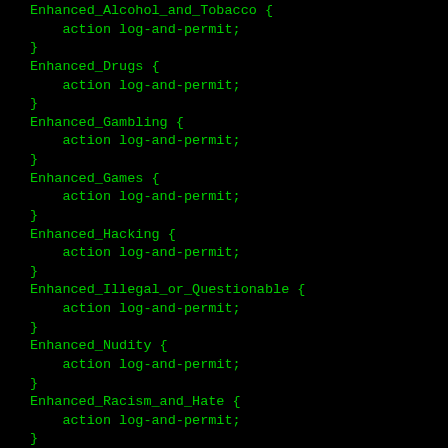Enhanced_Alcohol_and_Tobacco {
    action log-and-permit;
}
Enhanced_Drugs {
    action log-and-permit;
}
Enhanced_Gambling {
    action log-and-permit;
}
Enhanced_Games {
    action log-and-permit;
}
Enhanced_Hacking {
    action log-and-permit;
}
Enhanced_Illegal_or_Questionable {
    action log-and-permit;
}
Enhanced_Nudity {
    action log-and-permit;
}
Enhanced_Racism_and_Hate {
    action log-and-permit;
}